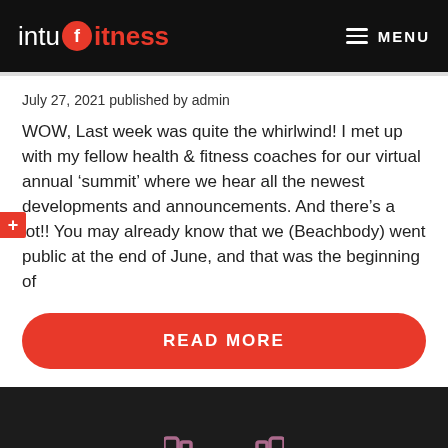intu fitness  MENU
July 27, 2021 published by admin
WOW, Last week was quite the whirlwind! I met up with my fellow health & fitness coaches for our virtual annual ‘summit’ where we hear all the newest developments and announcements. And there’s a lot!! You may already know that we (Beachbody) went public at the end of June, and that was the beginning of
READ MORE
[Figure (photo): Dark gym/fitness background with a pink barbell/dumbbell icon in the center. reCAPTCHA badge visible in bottom-right corner.]